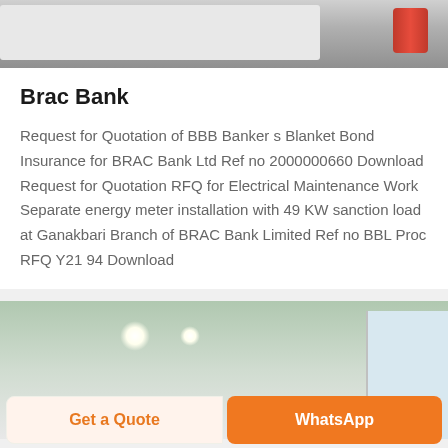[Figure (photo): Top portion of a printing or industrial machine with a blue stripe and red cylinder on a grey background]
Brac Bank
Request for Quotation of BBB Banker s Blanket Bond Insurance for BRAC Bank Ltd Ref no 2000000660 Download Request for Quotation RFQ for Electrical Maintenance Work Separate energy meter installation with 49 KW sanction load at Ganakbari Branch of BRAC Bank Limited Ref no BBL Proc RFQ Y21 94 Download
[Figure (photo): Interior of a bank branch or office with ceiling lights and windows visible]
Get a Quote
WhatsApp